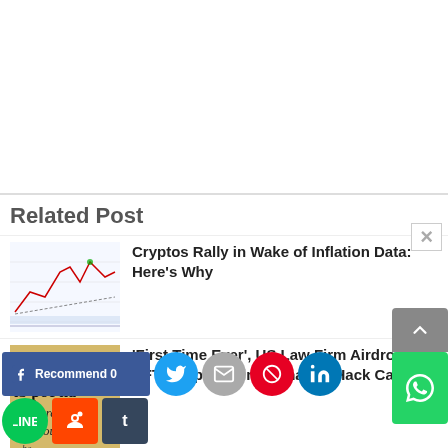Related Post
[Figure (screenshot): Thumbnail image of a financial/crypto chart with candlestick or line chart on white grid background]
Cryptos Rally in Wake of Inflation Data: Here's Why
[Figure (photo): Close-up photo of text in a book or document showing words 'sub or na t', 'ib poe na', 'order requi', 'law-court']
'First Time Ever', US Law Firm Airdrops NFT Subpoena in Exchange Hack Case
[Figure (photo): Dark photo showing scattered crypto coins or particles on black background]
Crypto buyers in emerging economies find themselves caught
[Figure (infographic): Social sharing bar with Facebook Recommend, Twitter, Email, Pinterest, LinkedIn, WhatsApp, Line, Reddit, Tumblr buttons]